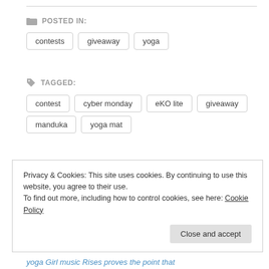POSTED IN:
contests
giveaway
yoga
TAGGED:
contest
cyber monday
eKO lite
giveaway
manduka
yoga mat
Privacy & Cookies: This site uses cookies. By continuing to use this website, you agree to their use.
To find out more, including how to control cookies, see here: Cookie Policy
Close and accept
yoga Girl music Rises proves the point that